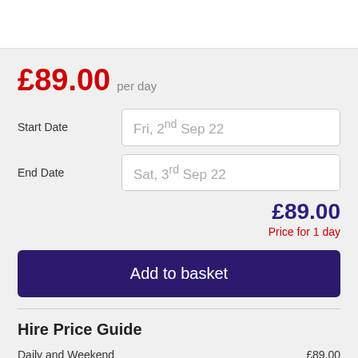£89.00 per day
Start Date: Fri, 2nd Sep 22
End Date: Sat, 3rd Sep 22
£89.00 Price for 1 day
Add to basket
Hire Price Guide
Daily and Weekend £89.00
Weekly Rate £356.00